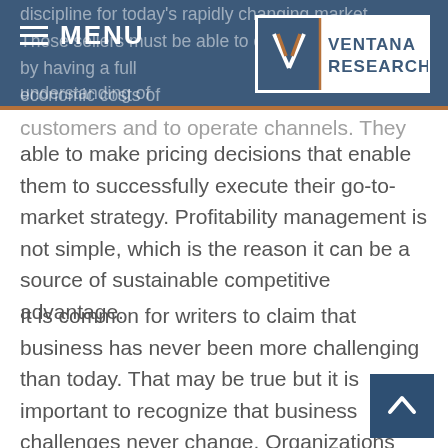MENU | Ventana Research
discipline for today's rapidly changing market. Those sellers must be able to quickly adapt by having a full understanding of... economic costs of products, the customers and to operate channels. They must be able to make pricing decisions that enable them to successfully execute their go-to-market strategy. Profitability management is not simple, which is the reason it can be a source of sustainable competitive advantage.
It is common for writers to claim that business has never been more challenging than today. That may be true but it is important to recognize that business challenges never change. Organizations must offer customers appealing products or services, attract and retain the best talent, market